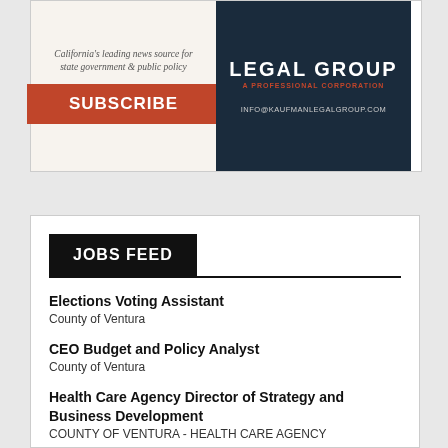[Figure (illustration): Advertisement for a news subscription service: text reads 'California's leading news source for state government & public policy' with an orange SUBSCRIBE button below.]
[Figure (illustration): Advertisement for Kaufman Legal Group, A Professional Corporation, with dark navy background, orange and white text, and email INFO@KAUFMANLEGALGROUP.COM.]
JOBS FEED
Elections Voting Assistant
County of Ventura
CEO Budget and Policy Analyst
County of Ventura
Health Care Agency Director of Strategy and Business Development
COUNTY OF VENTURA - HEALTH CARE AGENCY